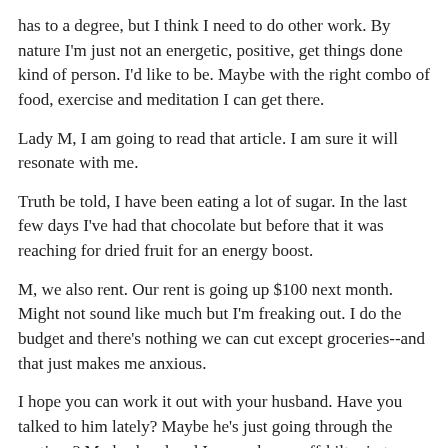has to a degree, but I think I need to do other work. By nature I'm just not an energetic, positive, get things done kind of person. I'd like to be. Maybe with the right combo of food, exercise and meditation I can get there.
Lady M, I am going to read that article. I am sure it will resonate with me.
Truth be told, I have been eating a lot of sugar. In the last few days I've had that chocolate but before that it was reaching for dried fruit for an energy boost.
M, we also rent. Our rent is going up $100 next month. Might not sound like much but I'm freaking out. I do the budget and there's nothing we can cut except groceries--and that just makes me anxious.
I hope you can work it out with your husband. Have you talked to him lately? Maybe he's just going through the motions? My husband and I were always off-kilter in terms of one of us wanting to leave the city and one wanting to stay. Now we both want to leave, but the finances aren't there. A chunk of land sounds amazing to me, but you are right to think you both need to be on the same page for that